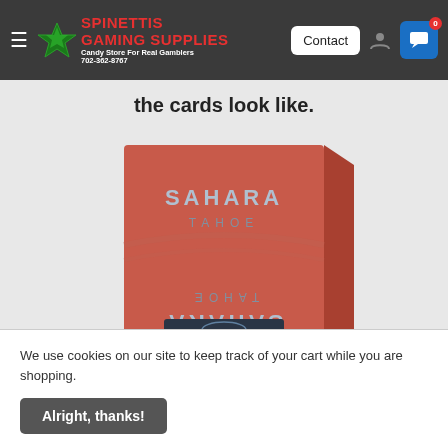SPINETTIS GAMING SUPPLIES — Candy Store For Real Gamblers 702-362-8767
the cards look like.
[Figure (photo): Red Sahara playing card deck box, showing SAHARA TAHOE text on front and upside-down text on back, with a dark label at the bottom edge.]
We use cookies on our site to keep track of your cart while you are shopping.
Alright, thanks!